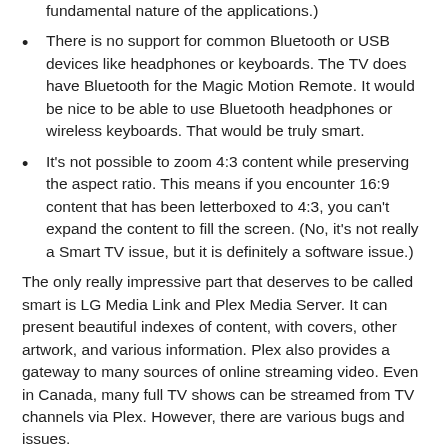fundamental nature of the applications.)
There is no support for common Bluetooth or USB devices like headphones or keyboards. The TV does have Bluetooth for the Magic Motion Remote. It would be nice to be able to use Bluetooth headphones or wireless keyboards. That would be truly smart.
It's not possible to zoom 4:3 content while preserving the aspect ratio. This means if you encounter 16:9 content that has been letterboxed to 4:3, you can't expand the content to fill the screen. (No, it's not really a Smart TV issue, but it is definitely a software issue.)
The only really impressive part that deserves to be called smart is LG Media Link and Plex Media Server. It can present beautiful indexes of content, with covers, other artwork, and various information. Plex also provides a gateway to many sources of online streaming video. Even in Canada, many full TV shows can be streamed from TV channels via Plex. However, there are various bugs and issues. Also, Plex's it...